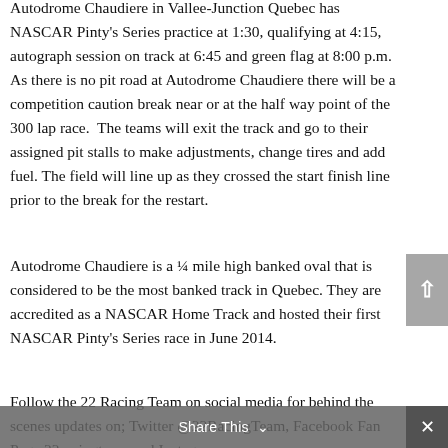Autodrome Chaudiere in Vallee-Junction Quebec has NASCAR Pinty's Series practice at 1:30, qualifying at 4:15, autograph session on track at 6:45 and green flag at 8:00 p.m. As there is no pit road at Autodrome Chaudiere there will be a competition caution break near or at the half way point of the 300 lap race. The teams will exit the track and go to their assigned pit stalls to make adjustments, change tires and add fuel. The field will line up as they crossed the start finish line prior to the break for the restart.
Autodrome Chaudiere is a ¼ mile high banked oval that is considered to be the most banked track in Quebec. They are accredited as a NASCAR Home Track and hosted their first NASCAR Pinty's Series race in June 2014.
Follow the 22 Racing Team on social media for behind the scenes updates on; Twitter @22RacingTeam, Facebook Fan Page 22racingteam and Instagram
Share This